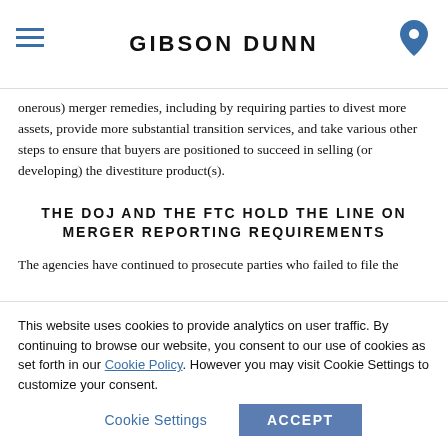GIBSON DUNN
onerous) merger remedies, including by requiring parties to divest more assets, provide more substantial transition services, and take various other steps to ensure that buyers are positioned to succeed in selling (or developing) the divestiture product(s).
THE DOJ AND THE FTC HOLD THE LINE ON MERGER REPORTING REQUIREMENTS
The agencies have continued to prosecute parties who failed to file the proper HSR notifications, regardless of whether the underlying transaction raised substantive antitrust issues.  In April, DOJ filed a lawsuit against ValueAct seeking fines of at least $19 million – a
This website uses cookies to provide analytics on user traffic. By continuing to browse our website, you consent to our use of cookies as set forth in our Cookie Policy. However you may visit Cookie Settings to customize your consent.